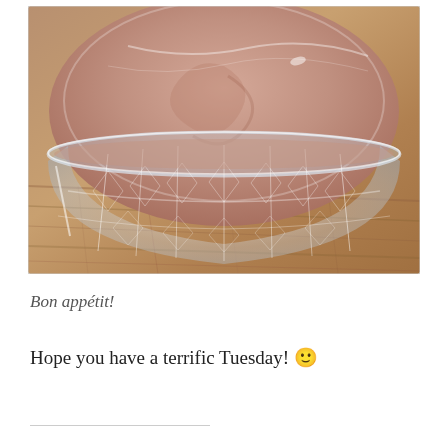[Figure (photo): A crystal glass bowl filled with a smooth pinkish-brown mousse or pudding, covered with plastic wrap, sitting on a wooden surface. The bowl has a decorative cut-glass pattern.]
Bon appétit!
Hope you have a terrific Tuesday! 🙂